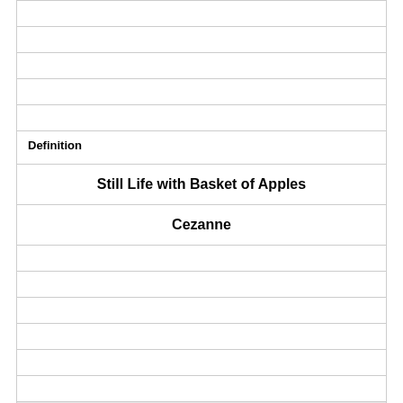|  |
|  |
|  |
|  |
|  |
| Definition |
| Still Life with Basket of Apples |
| Cezanne |
|  |
|  |
|  |
|  |
|  |
|  |
|  |
| Term |
| [image] |